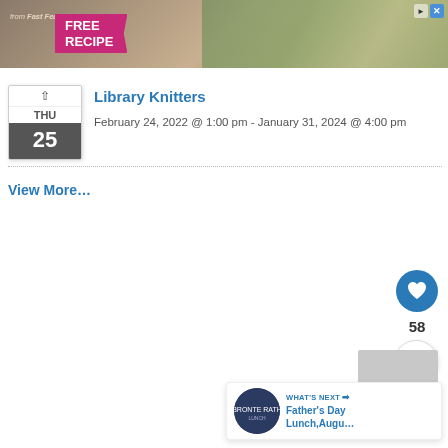[Figure (photo): Advertisement banner for 'Fast Feasts' showing food photo with pink ribbon overlay reading 'FREE RECIPE']
Library Knitters
February 24, 2022 @ 1:00 pm - January 31, 2024 @ 4:00 pm
View More…
[Figure (infographic): Heart like button (blue circle with white heart icon), like count 58, share button (white circle with share icon), and What's Next promo bar showing 'Father's Day Lunch, Augu...']